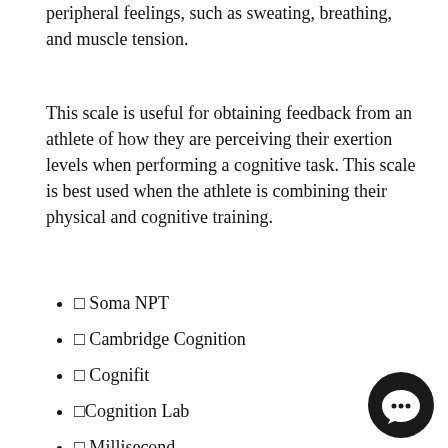peripheral feelings, such as sweating, breathing, and muscle tension.
This scale is useful for obtaining feedback from an athlete of how they are perceiving their exertion levels when performing a cognitive task. This scale is best used when the athlete is combining their physical and cognitive training.
□ Soma NPT
□ Cambridge Cognition
□ Cognifit
□Cognition Lab
□ Millisecond
[Figure (illustration): Black circular chat/messenger button icon in bottom right corner]